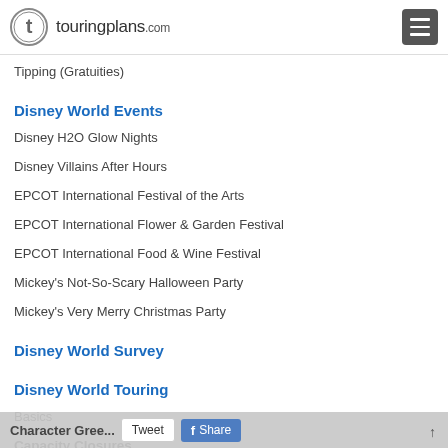touringplans.com
Tipping (Gratuities)
Disney World Events
Disney H2O Glow Nights
Disney Villains After Hours
EPCOT International Festival of the Arts
EPCOT International Flower & Garden Festival
EPCOT International Food & Wine Festival
Mickey's Not-So-Scary Halloween Party
Mickey's Very Merry Christmas Party
Disney World Survey
Disney World Touring
Basics
Capacity Closures
Character Greetings